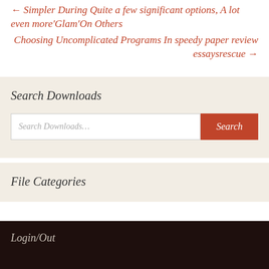← Simpler During Quite a few significant options, A lot even more'Glam'On Others
Choosing Uncomplicated Programs In speedy paper review essaysrescue →
Search Downloads
Search Downloads...
File Categories
Login/Out